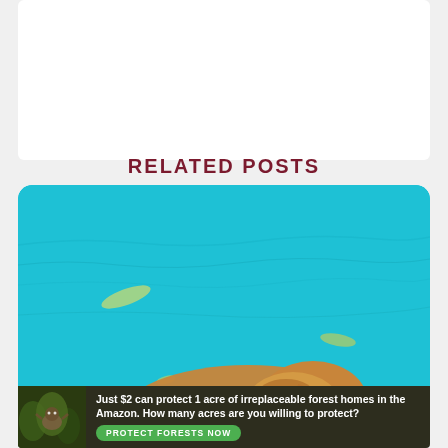RELATED POSTS
[Figure (photo): A golden retriever dog swimming in a bright turquoise blue pool or water, with its head just above the water surface, viewed from the side. Small floating objects visible in the water.]
[Figure (infographic): Advertisement banner with dark background showing a sloth/animal in forest on the left, and text: 'Just $2 can protect 1 acre of irreplaceable forest homes in the Amazon. How many acres are you willing to protect?' with a green button reading 'PROTECT FORESTS NOW']